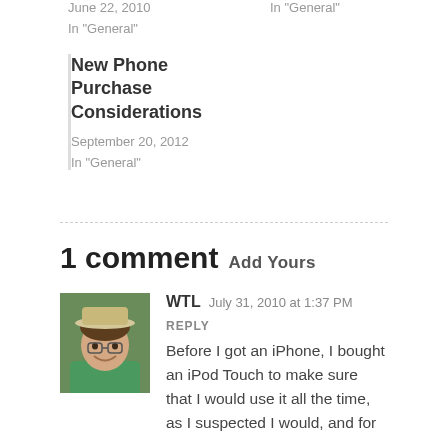June 22, 2010
In "General"
In "General"
New Phone Purchase Considerations
September 20, 2012
In "General"
1 comment  Add Yours
[Figure (photo): Avatar photo of commenter WTL — person wearing a hat, smiling, outdoors]
WTL   July 31, 2010 at 1:37 PM   REPLY
Before I got an iPhone, I bought an iPod Touch to make sure that I would use it all the time, as I suspected I would, and for